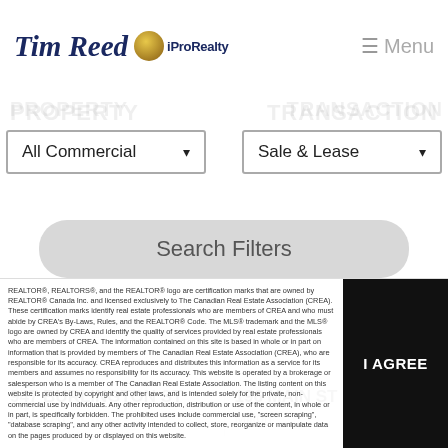Tim Reed iProRealty — Menu
All Commercial ▾
Sale & Lease ▾
Search Filters
947 BURLINGTON ST
Hamilton
196 MAIN ST E
Milton
REALTOR®, REALTORS®, and the REALTOR® logo are certification marks that are owned by REALTOR® Canada Inc. and licensed exclusively to The Canadian Real Estate Association (CREA). These certification marks identify real estate professionals who are members of CREA and who must abide by CREA's By-Laws, Rules, and the REALTOR® Code. The MLS® trademark and the MLS® logo are owned by CREA and identify the quality of services provided by real estate professionals who are members of CREA. The information contained on this site is based in whole or in part on information that is provided by members of The Canadian Real Estate Association (CREA), who are responsible for its accuracy. CREA reproduces and distributes this information as a service for its members and assumes no responsibility for its accuracy. This website is operated by a brokerage or salesperson who is a member of The Canadian Real Estate Association. The listing content on this website is protected by copyright and other laws, and is intended solely for the private, non-commercial use by individuals. Any other reproduction, distribution or use of the content, in whole or in part, is specifically forbidden. The prohibited uses include commercial use, "screen scraping", "database scraping", and any other activity intended to collect, store, reorganize or manipulate data on the pages produced by or displayed on this website.
I AGREE